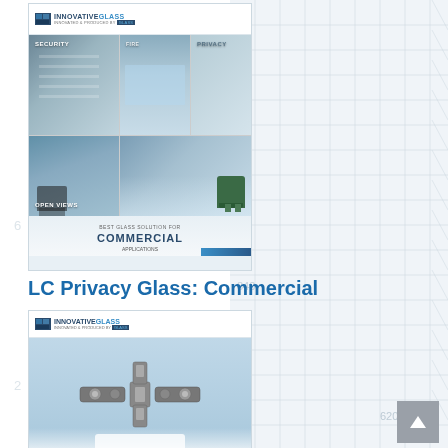[Figure (illustration): Brochure cover for Innovative Glass commercial applications showing office spaces with labels: SECURITY, FIRE, PRIVACY, OPEN VIEWS, with title COMMERCIAL APPLICATIONS at bottom]
LC Privacy Glass: Commercial
[Figure (illustration): Second Innovative Glass brochure cover showing glass hardware/fittings on a light blue background with the Innovative Glass logo at top]